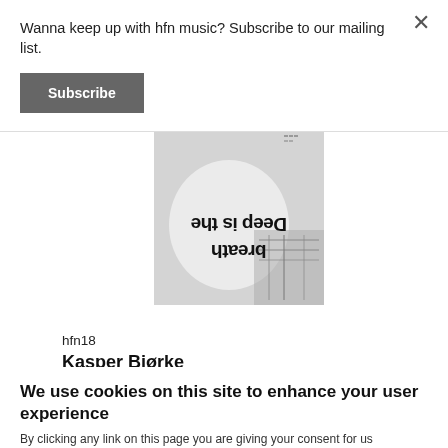Wanna keep up with hfn music? Subscribe to our mailing list.
Subscribe
[Figure (photo): Album cover for 'Deep is the breath' by Kasper Bjørke on hfn18. Black and white image with text displayed upside down and mirrored, showing the words 'Deep is the breath' over a blurred hand and electronic components background.]
hfn18
Kasper Bjørke
We use cookies on this site to enhance your user experience
By clicking any link on this page you are giving your consent for us